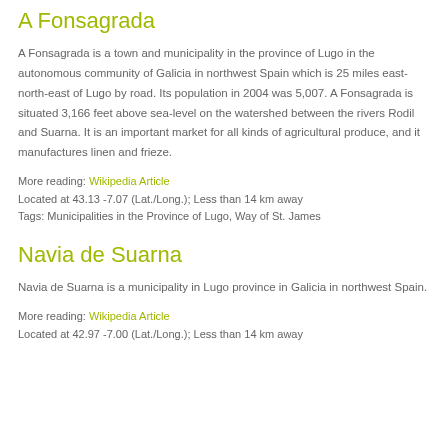A Fonsagrada
A Fonsagrada is a town and municipality in the province of Lugo in the autonomous community of Galicia in northwest Spain which is 25 miles east-north-east of Lugo by road. Its population in 2004 was 5,007. A Fonsagrada is situated 3,166 feet above sea-level on the watershed between the rivers Rodil and Suarna. It is an important market for all kinds of agricultural produce, and it manufactures linen and frieze.
More reading: Wikipedia Article
Located at 43.13 -7.07 (Lat./Long.); Less than 14 km away
Tags: Municipalities in the Province of Lugo, Way of St. James
Navia de Suarna
Navia de Suarna is a municipality in Lugo province in Galicia in northwest Spain.
More reading: Wikipedia Article
Located at 42.97 -7.00 (Lat./Long.); Less than 14 km away